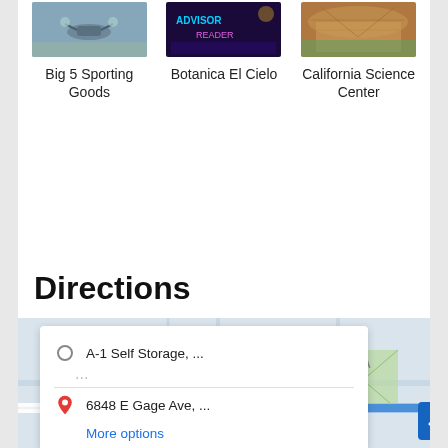[Figure (photo): Three card images showing Big 5 Sporting Goods (drone/outdoor scene), Botanica El Cielo (neon sign), and California Science Center (outdoor pavilion)]
Big 5 Sporting Goods
Botanica El Cielo
California Science Center
Directions
[Figure (map): Google Maps interface showing directions from A-1 Self Storage to 6848 E Gage Ave with a popup overlay, blue route line, and street labels including LAGUNA and E Gage Ave. A red vertical progress bar is on the left side. A scroll-up button (blue, with up chevron) is at bottom right.]